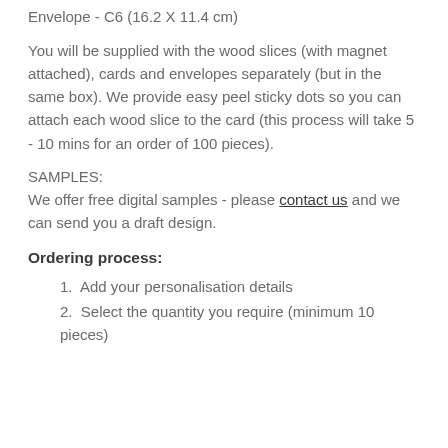Envelope - C6 (16.2 X 11.4 cm)
You will be supplied with the wood slices (with magnet attached), cards and envelopes separately (but in the same box). We provide easy peel sticky dots so you can attach each wood slice to the card (this process will take 5 - 10 mins for an order of 100 pieces).
SAMPLES:
We offer free digital samples - please contact us and we can send you a draft design.
Ordering process:
1.  Add your personalisation details
2.  Select the quantity you require (minimum 10 pieces)